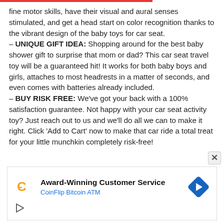fine motor skills, have their visual and aural senses stimulated, and get a head start on color recognition thanks to the vibrant design of the baby toys for car seat.
– UNIQUE GIFT IDEA: Shopping around for the best baby shower gift to surprise that mom or dad? This car seat travel toy will be a guaranteed hit! It works for both baby boys and girls, attaches to most headrests in a matter of seconds, and even comes with batteries already included.
– BUY RISK FREE: We've got your back with a 100% satisfaction guarantee. Not happy with your car seat activity toy? Just reach out to us and we'll do all we can to make it right. Click 'Add to Cart' now to make that car ride a total treat for your little munchkin completely risk-free!
[Figure (screenshot): Advertisement banner for CoinFlip Bitcoin ATM with 'Award-Winning Customer Service' text and a blue diamond-shaped navigation arrow icon]
Award-Winning Customer Service
CoinFlip Bitcoin ATM